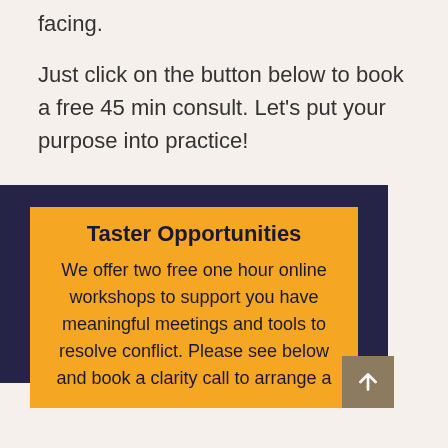facing.
Just click on the button below to book a free 45 min consult. Let's put your purpose into practice!
Taster Opportunities
We offer two free one hour online workshops to support you have meaningful meetings and tools to resolve conflict. Please see below and book a clarity call to arrange a